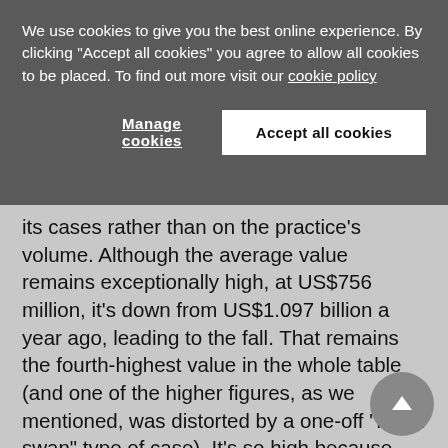We use cookies to give you the best online experience. By clicking "Accept all cookies" you agree to allow all cookies to be placed. To find out more visit our cookie policy
Manage cookies
Accept all cookies
its cases rather than on the practice's volume. Although the average value remains exceptionally high, at US$756 million, it's down from US$1.097 billion a year ago, leading to the fall. That remains the fourth-highest value in the whole table (and one of the higher figures, as we mentioned, was distorted by a one-off "black swan" type of case). It's so high because CRA works on so many billion-dollar cases, both investor-state and commercial, in an array of industries from transport to financial services. Volume-wise (19 disaggregated hearings) it is